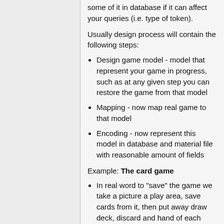some of it in database if it can affect your queries (i.e. type of token).
Usually design process will contain the following steps:
Design game model - model that represent your game in progress, such as at any given step you can restore the game from that model
Mapping - now map real game to that model
Encoding - now represent this model in database and material file with reasonable amount of fields
Example: The card game
In real word to "save" the game we take a picture a play area, save cards from it, then put away draw deck, discard and hand of each player separately and mark it, also